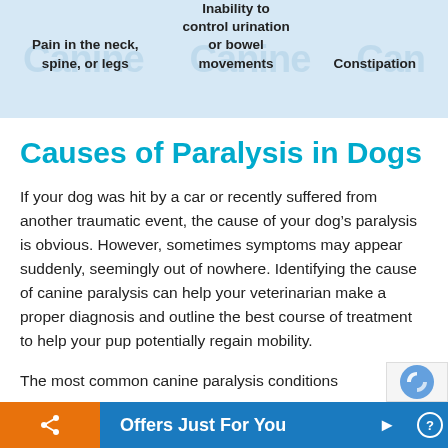[Figure (infographic): Light blue banner with three symptom items: 'Pain in the neck, spine, or legs', 'Inability to control urination or bowel movements', 'Constipation'. Background has faint 'Canine' watermark text repeated.]
Causes of Paralysis in Dogs
If your dog was hit by a car or recently suffered from another traumatic event, the cause of your dog’s paralysis is obvious. However, sometimes symptoms may appear suddenly, seemingly out of nowhere. Identifying the cause of canine paralysis can help your veterinarian make a proper diagnosis and outline the best course of treatment to help your pup potentially regain mobility.
The most common canine paralysis conditions
[Figure (infographic): Bottom navigation bar with orange share button on left and blue 'Offers Just For You' button on right with arrow.]